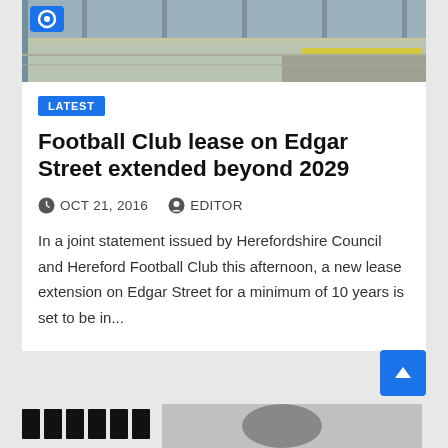[Figure (photo): Top portion of a photo showing what appears to be a stadium or sports ground with track/field lines visible, with a camera icon in the top left corner]
LATEST
Football Club lease on Edgar Street extended beyond 2029
OCT 21, 2016   EDITOR
In a joint statement issued by Herefordshire Council and Hereford Football Club this afternoon, a new lease extension on Edgar Street for a minimum of 10 years is set to be in...
[Figure (photo): Bottom partial photo showing black and white image, partially cropped]